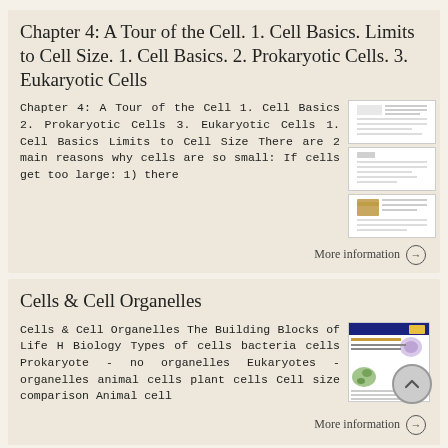Chapter 4: A Tour of the Cell. 1. Cell Basics. Limits to Cell Size. 1. Cell Basics. 2. Prokaryotic Cells. 3. Eukaryotic Cells
Chapter 4: A Tour of the Cell 1. Cell Basics 2. Prokaryotic Cells 3. Eukaryotic Cells 1. Cell Basics Limits to Cell Size There are 2 main reasons why cells are so small: If cells get too large: 1) there
[Figure (screenshot): Three thumbnail images of document slides stacked vertically]
More information →
Cells & Cell Organelles
Cells & Cell Organelles The Building Blocks of Life H Biology Types of cells bacteria cells Prokaryote - no organelles Eukaryotes - organelles animal cells plant cells Cell size comparison Animal cell
[Figure (screenshot): Thumbnail image of a presentation slide for Cells & Cell Organelles]
More information →